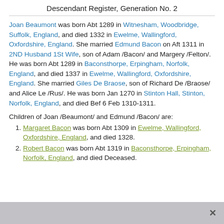Descendant Register, Generation No. 2
Joan Beaumont was born Abt 1289 in Witnesham, Woodbridge, Suffolk, England, and died 1332 in Ewelme, Wallingford, Oxfordshire, England. She married Edmund Bacon on Aft 1311 in 2ND Husband 1St Wife, son of Adam /Bacon/ and Margery /Felton/. He was born Abt 1289 in Baconsthorpe, Erpingham, Norfolk, England, and died 1337 in Ewelme, Wallingford, Oxfordshire, England. She married Giles De Braose, son of Richard De /Braose/ and Alice Le /Rus/. He was born Jan 1270 in Stinton Hall, Stinton, Norfolk, England, and died Bef 6 Feb 1310-1311.
Children of Joan /Beaumont/ and Edmund /Bacon/ are:
Margaret Bacon was born Abt 1309 in Ewelme, Wallingford, Oxfordshire, England, and died 1328.
Robert Bacon was born Abt 1319 in Baconsthorpe, Erpingham, Norfolk, England, and died Deceased.